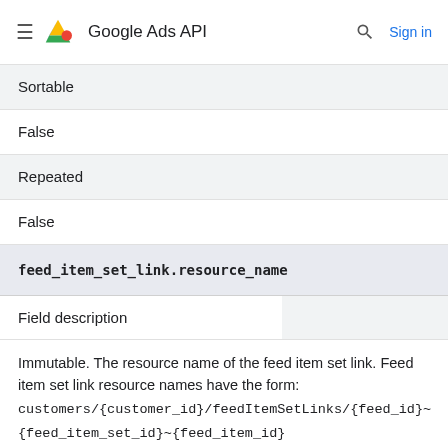Google Ads API  Sign in
Sortable
False
Repeated
False
feed_item_set_link.resource_name
Field description
Immutable. The resource name of the feed item set link. Feed item set link resource names have the form: customers/{customer_id}/feedItemSetLinks/{feed_id}~{feed_item_set_id}~{feed_item_id}
Category
ATTRIBUTE